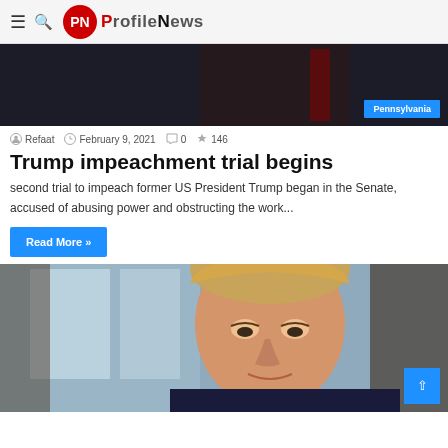ProfileNews
[Figure (photo): Dark background image with person in suit, Pennsylvania tag overlay]
Refaat  February 9, 2021  0  146
Trump impeachment trial begins
second trial to impeach former US President Trump began in the Senate, accused of abusing power and obstructing the work...
Read More »
[Figure (photo): Photo of Donald Trump looking downward with serious expression, seated indoors]